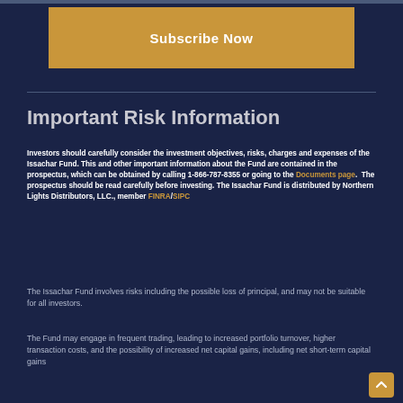[Figure (other): Subscribe Now button with gold/amber background]
Important Risk Information
Investors should carefully consider the investment objectives, risks, charges and expenses of the Issachar Fund. This and other important information about the Fund are contained in the prospectus, which can be obtained by calling 1-866-787-8355 or going to the Documents page. The prospectus should be read carefully before investing. The Issachar Fund is distributed by Northern Lights Distributors, LLC., member FINRA/SIPC
The Issachar Fund involves risks including the possible loss of principal, and may not be suitable for all investors.
The Fund may engage in frequent trading, leading to increased portfolio turnover, higher transaction costs, and the possibility of increased net capital gains, including net short-term capital gains